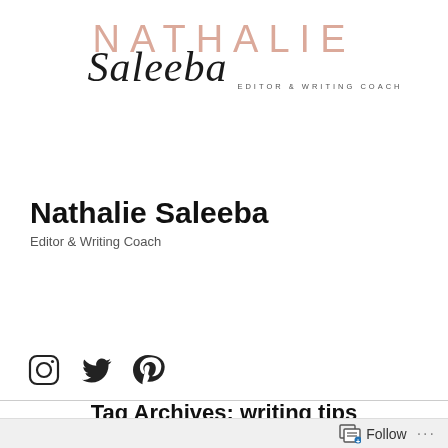[Figure (logo): Nathalie Saleeba logo with stylized text. 'NATHALIE' in large light salmon/pink spaced letters, 'Saleeba' in cursive script below, and 'EDITOR & WRITING COACH' in small spaced caps to the right.]
Nathalie Saleeba
Editor & Writing Coach
Menu +
[Figure (infographic): Three social media icons: Instagram (circle with square camera outline), Twitter (bird), Pinterest (P)]
Tag Archives: writing tips
Follow ...